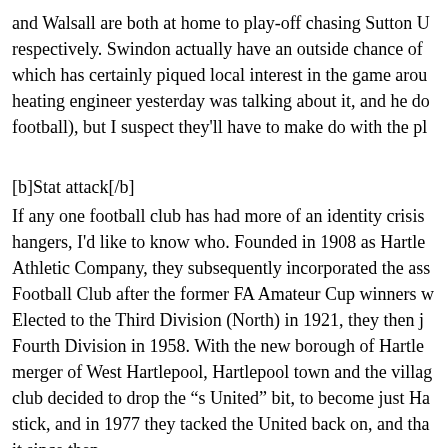and Walsall are both at home to play-off chasing Sutton U respectively. Swindon actually have an outside chance of which has certainly piqued local interest in the game arou heating engineer yesterday was talking about it, and he do football), but I suspect they'll have to make do with the pl
[b]Stat attack[/b]
If any one football club has had more of an identity crisis hangers, I'd like to know who. Founded in 1908 as Hartle Athletic Company, they subsequently incorporated the ass Football Club after the former FA Amateur Cup winners w Elected to the Third Division (North) in 1921, they then j Fourth Division in 1958. With the new borough of Hartle merger of West Hartlepool, Hartlepool town and the villag club decided to drop the "s United" bit, to become just Ha stick, and in 1977 they tacked the United back on, and tha it since then.
Never playing higher than the third tier, Hartlepool Unite in the Football League until 2017. Going into the final da either Hartlepool United or Newport County who'd be re